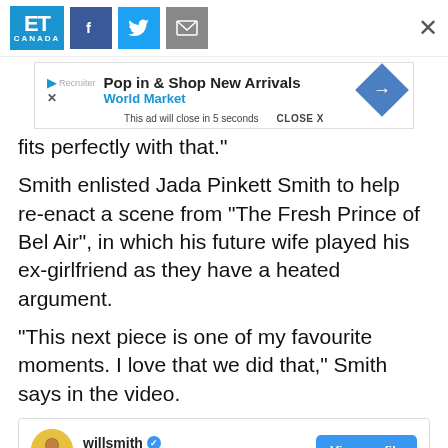ET Canada | Facebook | Twitter | Mail | Close
[Figure (screenshot): Advertisement banner: Pop in & Shop New Arrivals - World Market, with play/close icons and navigation arrow diamond icon. Ad close row: This ad will close in 5 seconds | CLOSE X]
fits perfectly with that.”
Smith enlisted Jada Pinkett Smith to help re-enact a scene from “The Fresh Prince of Bel Air”, in which his future wife played his ex-girlfriend as they have a heated argument.
“This next piece is one of my favourite moments. I love that we did that,” Smith says in the video.
[Figure (screenshot): Instagram card for willsmith with verified badge, 63.6M followers, and a View profile button. Profile photo showing Will Smith. Bottom shows start of an image.]